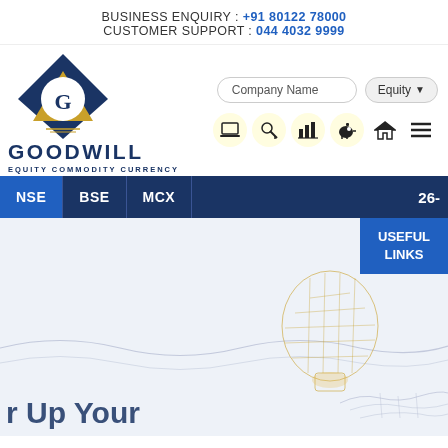BUSINESS ENQUIRY : +91 80122 78000
CUSTOMER SUPPORT : 044 4032 9999
[Figure (logo): Goodwill logo - blue diamond shape with gold G letter and mountain/triangle inside, below text reads GOODWILL EQUITY COMMODITY CURRENCY]
Company Name | Equity
[Figure (infographic): Navigation icons: laptop, key/lock, bar chart, piggy bank, home, hamburger menu]
NSE | BSE | MCX | 26-
USEFUL LINKS
[Figure (illustration): Decorative background image of a wireframe lightbulb and hand, light blue tones]
r Up Your